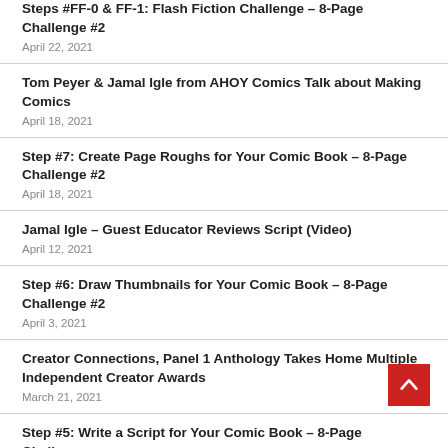Steps #FF-0 & FF-1: Flash Fiction Challenge – 8-Page Challenge #2
April 22, 2021
Tom Peyer & Jamal Igle from AHOY Comics Talk about Making Comics
April 18, 2021
Step #7: Create Page Roughs for Your Comic Book – 8-Page Challenge #2
April 18, 2021
Jamal Igle – Guest Educator Reviews Script (Video)
April 12, 2021
Step #6: Draw Thumbnails for Your Comic Book – 8-Page Challenge #2
April 3, 2021
Creator Connections, Panel 1 Anthology Takes Home Multiple Independent Creator Awards
March 21, 2021
Step #5: Write a Script for Your Comic Book – 8-Page Challenge